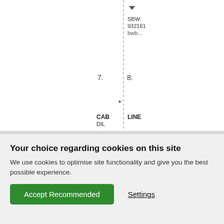[Figure (screenshot): Partial screenshot of a web application showing a spreadsheet/table interface with column numbers 7 and 8, a dashed vertical divider line, a dropdown area showing text 'SBW 932161 bwb...' with a down arrow, a small black skewed badge/button shape around row 315, and partially visible column headers 'CAB' and 'LINE' / 'DIL' at the bottom of the table area.]
Your choice regarding cookies on this site
We use cookies to optimise site functionality and give you the best possible experience.